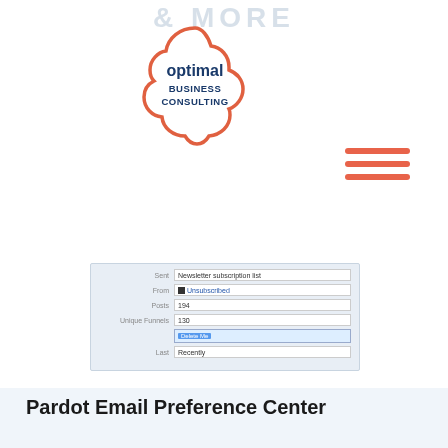& MORE
[Figure (logo): Optimal Business Consulting logo — cloud shape outline in coral/red with text 'optimal BUSINESS CONSULTING' inside]
[Figure (other): Hamburger menu icon — three horizontal coral/orange lines]
[Figure (screenshot): Screenshot of a form/detail view with fields: From (Unsubscribed), Posts (194), Unique Funnels (130), a highlighted button row, Last (Recently)]
Pardot Email Preference Center
1) REACH ,  EMAIL MARKETING ,  MARKETING ,  PARDOT (MCAE) ,  SEGMENTATION LISTS
Pardot email preference center links are populated via Handlebars Merge Language (HML) or, for older versions, Pardot Merge Language (PML)
READ MORE